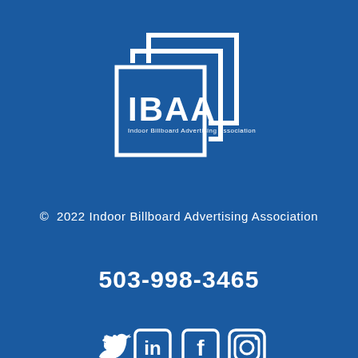[Figure (logo): IBAA Indoor Billboard Advertising Association logo — white geometric overlapping square outlines with 'IBAA' text and tagline 'Indoor Billboard Advertising Association' on blue background]
© 2022 Indoor Billboard Advertising Association
503-998-3465
[Figure (illustration): Social media icons: Twitter bird, LinkedIn 'in', Facebook 'f', Instagram camera — all white on blue background]